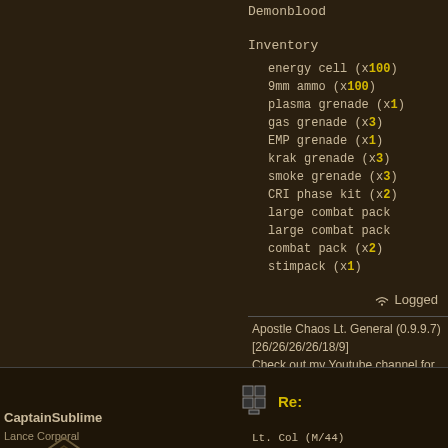Demonblood
Inventory
energy cell (x100)
9mm ammo (x100)
plasma grenade (x1)
gas grenade (x3)
EMP grenade (x1)
krak grenade (x3)
smoke grenade (x3)
CRI phase kit (x2)
large combat pack
large combat pack
combat pack (x2)
stimpack (x1)
Logged
Apostle Chaos Lt. General (0.9.9.7)
[26/26/26/26/18/9]
Check out my Youtube channel for videos of me playing DRL! :)
https://www.youtube.com/channel/UCXOiji
CaptainSublime
Lance Corporal
Re: